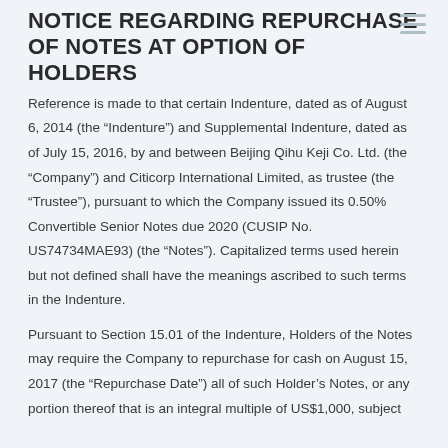NOTICE REGARDING REPURCHASE OF NOTES AT OPTION OF HOLDERS
Reference is made to that certain Indenture, dated as of August 6, 2014 (the “Indenture”) and Supplemental Indenture, dated as of July 15, 2016, by and between Beijing Qihu Keji Co. Ltd. (the “Company”) and Citicorp International Limited, as trustee (the “Trustee”), pursuant to which the Company issued its 0.50% Convertible Senior Notes due 2020 (CUSIP No. US74734MAE93) (the “Notes”). Capitalized terms used herein but not defined shall have the meanings ascribed to such terms in the Indenture.
Pursuant to Section 15.01 of the Indenture, Holders of the Notes may require the Company to repurchase for cash on August 15, 2017 (the “Repurchase Date”) all of such Holder’s Notes, or any portion thereof that is an integral multiple of US$1,000, subject